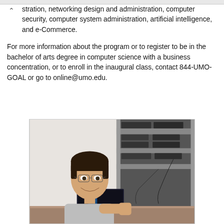stration, networking design and administration, computer security, computer system administration, artificial intelligence, and e-Commerce.
For more information about the program or to register to be in the bachelor of arts degree in computer science with a business concentration, or to enroll in the inaugural class, contact 844-UMO-GOAL or go to online@umo.edu.
[Figure (photo): A man with glasses smiling and working at a computer workstation, with a rack of servers/computers visible behind him.]